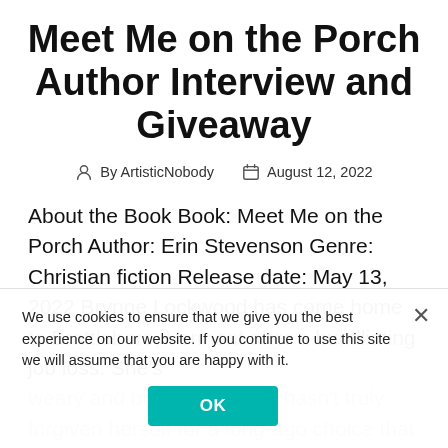Meet Me on the Porch Author Interview and Giveaway
By ArtisticNobody   August 12, 2022
About the Book Book: Meet Me on the Porch Author: Erin Stevenson Genre: Christian fiction Release date: May 13, 2022 Brynne Lockwood has come home to Brattleboro, Vermont after a humiliating job loss. She's weary and broken, and still hasn't truly forgiven herself for a long-ago choice that has far-reaching consequences. She de… that [...]
We use cookies to ensure that we give you the best experience on our website. If you continue to use this site we will assume that you are happy with it.